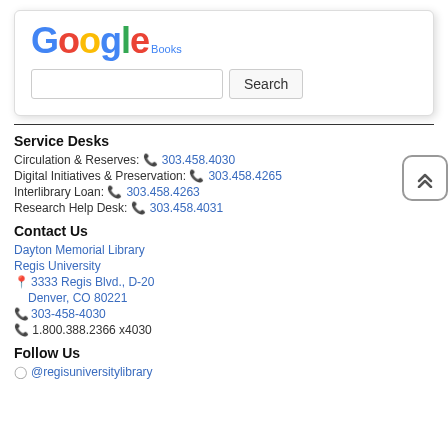[Figure (screenshot): Google Books search box with text input field and Search button]
Service Desks
Circulation & Reserves: 303.458.4030
Digital Initiatives & Preservation: 303.458.4265
Interlibrary Loan: 303.458.4263
Research Help Desk: 303.458.4031
Contact Us
Dayton Memorial Library
Regis University
3333 Regis Blvd., D-20
Denver, CO 80221
303-458-4030
1.800.388.2366 x4030
Follow Us
@regisuniversitylibrary